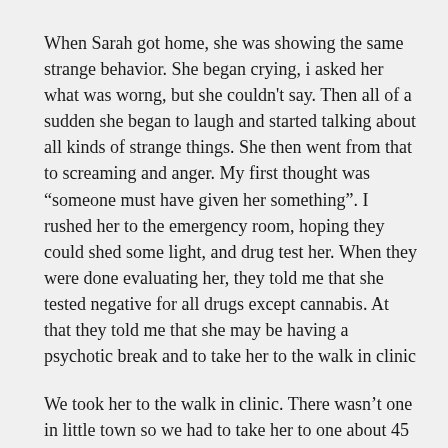When Sarah got home, she was showing the same strange behavior. She began crying, i asked her what was worng, but she couldn't say. Then all of a sudden she began to laugh and started talking about all kinds of strange things. She then went from that to screaming and anger. My first thought was “someone must have given her something”. I rushed her to the emergency room, hoping they could shed some light, and drug test her. When they were done evaluating her, they told me that she tested negative for all drugs except cannabis. At that they told me that she may be having a psychotic break and to take her to the walk in clinic
We took her to the walk in clinic. There wasn’t one in little town so we had to take her to one about 45 minutes away. I remember calling it a hitchhiker. The